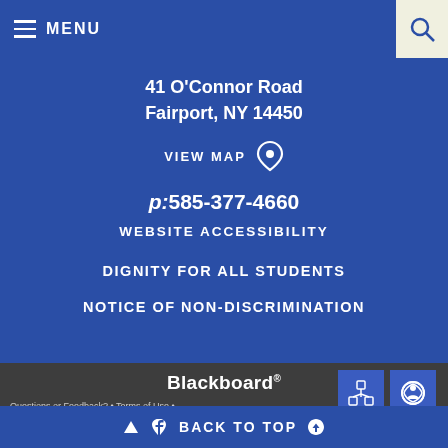MENU
41 O'Connor Road
Fairport, NY 14450
VIEW MAP
p: 585-377-4660
WEBSITE ACCESSIBILITY
DIGNITY FOR ALL STUDENTS
NOTICE OF NON-DISCRIMINATION
Blackboard
Questions or Feedback?  •  Terms of Use  •
Blackboard Web Community Manager Privacy Policy (Updated)
Copyright © 2002-2022 Blackboard, Inc. All rights reserved.
BACK TO TOP